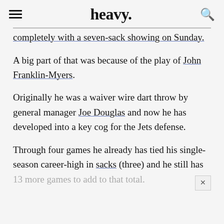heavy.
completely with a seven-sack showing on Sunday.
A big part of that was because of the play of John Franklin-Myers.
Originally he was a waiver wire dart throw by general manager Joe Douglas and now he has developed into a key cog for the Jets defense.
Through four games he already has tied his single-season career-high in sacks (three) and he still has 13 more games to add to that total.